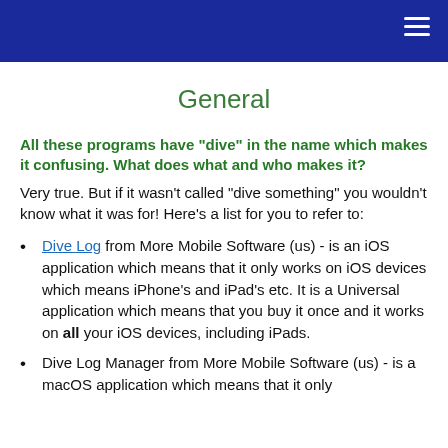General
All these programs have "dive" in the name which makes it confusing. What does what and who makes it?
Very true. But if it wasn't called "dive something" you wouldn't know what it was for! Here's a list for you to refer to:
Dive Log from More Mobile Software (us) - is an iOS application which means that it only works on iOS devices which means iPhone's and iPad's etc. It is a Universal application which means that you buy it once and it works on all your iOS devices, including iPads.
Dive Log Manager from More Mobile Software (us) - is a macOS application which means that it only